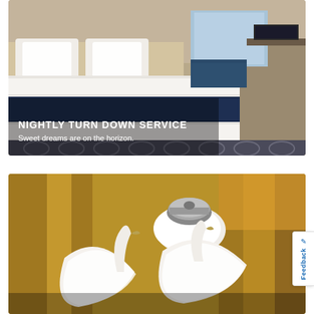[Figure (photo): Hotel/cruise ship cabin with a neatly made bed featuring white linens and a dark navy blue runner across the middle. Blue seating area and window visible in background. Patterned carpet on floor. Text overlay reads 'NIGHTLY TURN DOWN SERVICE' and 'Sweet dreams are on the horizon.']
[Figure (photo): Close-up photo of a gloved hand holding a chrome dome/cloche lid with white folded towel swans arranged artistically in foreground, golden/yellow curtains in background, warm lighting.]